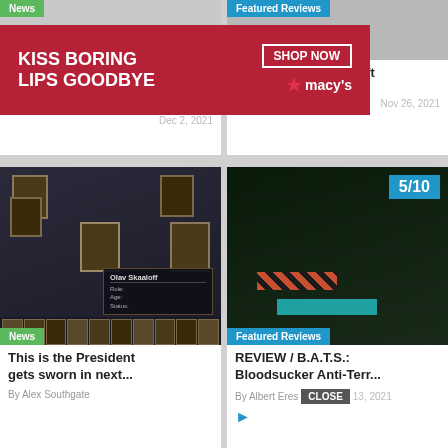[Figure (screenshot): Top-left article card showing partial news image with 'News' badge, title 'Len's Island ventures into E...', author 'By Alex Southgate', date 'Dec 2, 2021'. An advertisement overlay (Macy's lipstick ad: 'Kiss Boring Lips Goodbye', Shop Now) covers the top center.]
[Figure (screenshot): Top-right article card showing partial 'Featured Reviews' badge, title 'PREVIEW / Potion Craft', author 'By Alex Southgate', date 'Nov 26, 2021'.]
[Figure (screenshot): Bottom-left card: game screenshot with dark theme showing character portraits and info panel. 'News' badge. Title: 'This is the President gets sworn in next...', author 'By Alex Southgate'.]
[Figure (screenshot): Bottom-right card: action game screenshot with 5/10 score badge, 'Featured Reviews' badge. Title: 'REVIEW / B.A.T.S.: Bloodsucker Anti-Terr...', author 'By Albert Eres'. Date: Nov 13, 2021. Close button visible.]